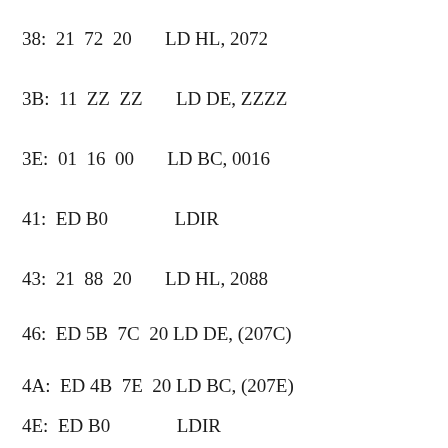38:  21  72  20       LD HL, 2072
3B:  11  ZZ  ZZ       LD DE, ZZZZ
3E:  01  16  00       LD BC, 0016
41:  ED B0             LDIR
43:  21  88  20       LD HL, 2088
46:  ED 5B  7C  20 LD DE, (207C)
4A:  ED 4B  7E  20 LD BC, (207E)
4E:  ED B0             LDIR